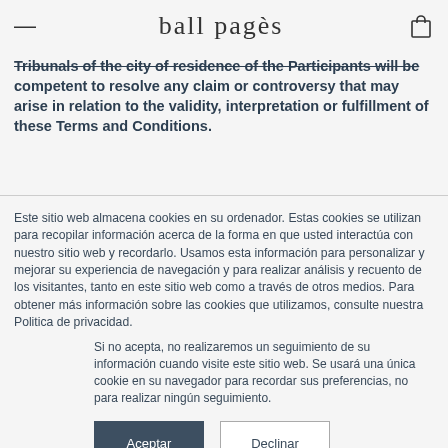≡  ball pagès  🛍
Tribunals of the city of residence of the Participants will be competent to resolve any claim or controversy that may arise in relation to the validity, interpretation or fulfillment of these Terms and Conditions.
Este sitio web almacena cookies en su ordenador. Estas cookies se utilizan para recopilar información acerca de la forma en que usted interactúa con nuestro sitio web y recordarlo. Usamos esta información para personalizar y mejorar su experiencia de navegación y para realizar análisis y recuento de los visitantes, tanto en este sitio web como a través de otros medios. Para obtener más información sobre las cookies que utilizamos, consulte nuestra Politica de privacidad.
Si no acepta, no realizaremos un seguimiento de su información cuando visite este sitio web. Se usará una única cookie en su navegador para recordar sus preferencias, no para realizar ningún seguimiento.